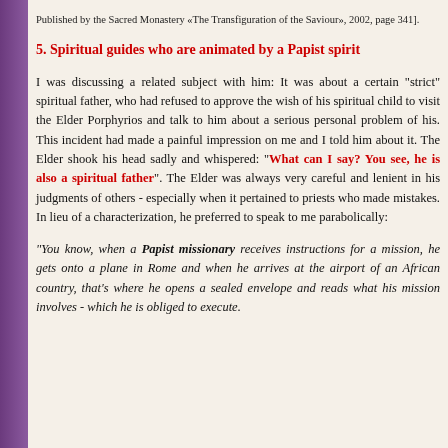Published by the Sacred Monastery «The Transfiguration of the Saviour», 2002, page 341].
5.  Spiritual guides who are animated by a Papist spirit
I was discussing a related subject with him:  It was about a certain "strict" spiritual father, who had refused to approve the wish of his spiritual child to visit the Elder Porphyrios and talk to him about a serious personal problem of his. This incident had made a painful impression on me and I told him about it. The Elder shook his head sadly and whispered:  "What can I say? You see, he is also a spiritual father". The Elder was always very careful and lenient in his judgments of others - especially when it pertained to priests who made mistakes.  In lieu of a characterization, he preferred to speak to me parabolically:
"You know, when a Papist missionary receives instructions for a mission, he gets onto a plane in Rome and when he arrives at the airport of an African country, that's where he opens a sealed envelope and reads what his mission involves - which he is obliged to execute.